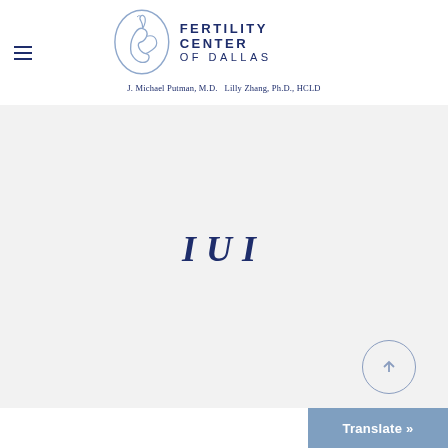[Figure (logo): Fertility Center of Dallas logo with a stylized swan in a circle]
J. Michael Putman, M.D.   Lilly Zhang, Ph.D., HCLD
IUI